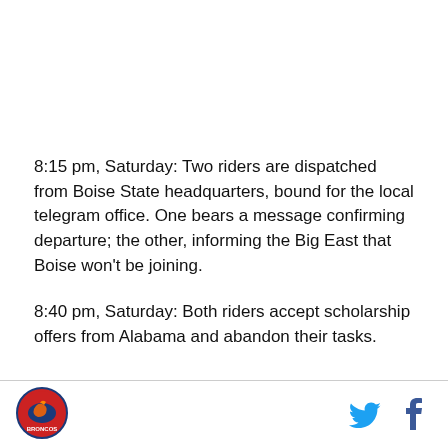8:15 pm, Saturday: Two riders are dispatched from Boise State headquarters, bound for the local telegram office. One bears a message confirming departure; the other, informing the Big East that Boise won't be joining.
8:40 pm, Saturday: Both riders accept scholarship offers from Alabama and abandon their tasks.
[Figure (logo): Boise State Broncos logo — circular red and blue sports emblem]